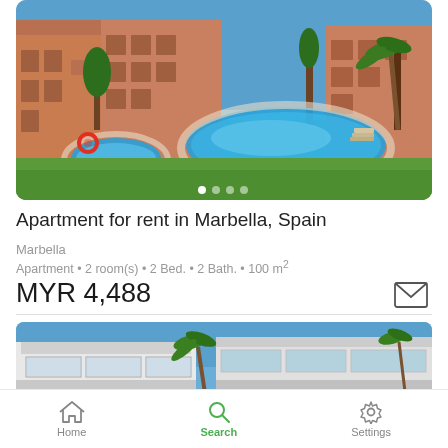[Figure (photo): Aerial view of apartment complex in Marbella Spain with a large swimming pool, green lawn, and terracotta-colored buildings surrounded by palm trees and Mediterranean landscaping]
Apartment for rent in Marbella, Spain
Marbella
Apartment • 2 room(s) • 2 Bed. • 2 Bath. • 100 m²
MYR 4,488
[Figure (photo): Modern villa or apartment building with flat roof, large glass balconies, palm trees in front, bright blue sky]
Home  Search  Settings